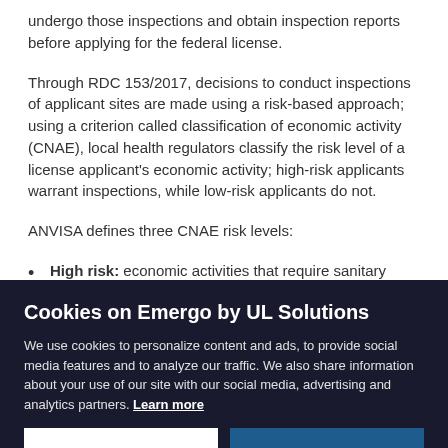undergo those inspections and obtain inspection reports before applying for the federal license.
Through RDC 153/2017, decisions to conduct inspections of applicant sites are made using a risk-based approach; using a criterion called classification of economic activity (CNAE), local health regulators classify the risk level of a license applicant's economic activity; high-risk applicants warrant inspections, while low-risk applicants do not.
ANVISA defines three CNAE risk levels:
High risk: economic activities that require sanitary inspections or prior documentary analysis by health
Cookies on Emergo by UL Solutions
We use cookies to personalize content and ads, to provide social media features and to analyze our traffic. We also share information about your use of our site with our social media, advertising and analytics partners. Learn more